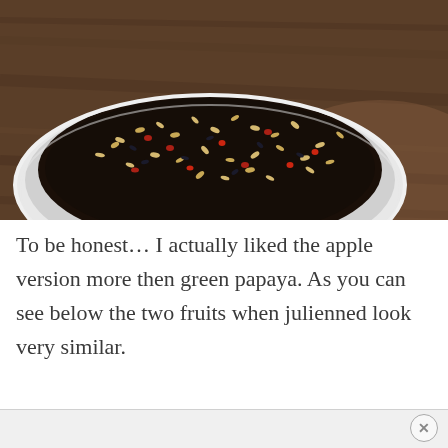[Figure (photo): Overhead close-up photo of a white ceramic bowl containing a dark liquid mixture with seeds and spices (appears to be a dressing or marinade with sesame seeds, dried chili flakes, and other spices), placed on a wooden surface.]
To be honest… I actually liked the apple version more then green papaya. As you can see below the two fruits when julienned look very similar.